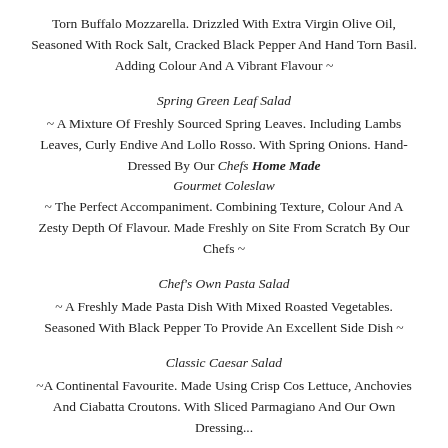Torn Buffalo Mozzarella. Drizzled With Extra Virgin Olive Oil, Seasoned With Rock Salt, Cracked Black Pepper And Hand Torn Basil. Adding Colour And A Vibrant Flavour ~
Spring Green Leaf Salad
~ A Mixture Of Freshly Sourced Spring Leaves. Including Lambs Leaves, Curly Endive And Lollo Rosso. With Spring Onions. Hand-Dressed By Our Chefs Home Made
Gourmet Coleslaw
~ The Perfect Accompaniment. Combining Texture, Colour And A Zesty Depth Of Flavour. Made Freshly on Site From Scratch By Our Chefs ~
Chef's Own Pasta Salad
~ A Freshly Made Pasta Dish With Mixed Roasted Vegetables. Seasoned With Black Pepper To Provide An Excellent Side Dish ~
Classic Caesar Salad
~A Continental Favourite. Made Using Crisp Cos Lettuce, Anchovies And Ciabatta Croutons. With Sliced Parmagiano And Our Own Dressing...